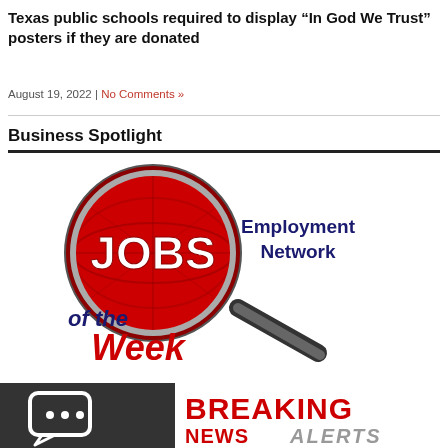Texas public schools required to display “In God We Trust” posters if they are donated
August 19, 2022 | No Comments »
Business Spotlight
[Figure (logo): JOBS Employment Network of the Week logo with magnifying glass]
[Figure (logo): Breaking News Alerts logo with speech bubble icon on dark background]